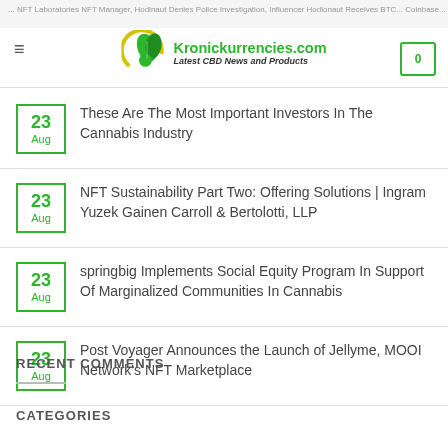Kronickurrencies.com - Latest CBD News and Products
23 Aug - These Are The Most Important Investors In The Cannabis Industry
23 Aug - NFT Sustainability Part Two: Offering Solutions | Ingram Yuzek Gainen Carroll & Bertolotti, LLP
23 Aug - springbig Implements Social Equity Program In Support Of Marginalized Communities In Cannabis
23 Aug - Post Voyager Announces the Launch of Jellyme, MOOI Network's NFT Marketplace
RECENT COMMENTS
CATEGORIES